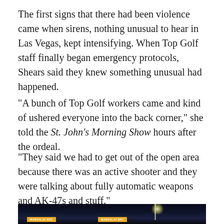The first signs that there had been violence came when sirens, nothing unusual to hear in Las Vegas, kept intensifying. When Top Golf staff finally began emergency protocols, Shears said they knew something unusual had happened.
"A bunch of Top Golf workers came and kind of ushered everyone into the back corner," she told the St. John's Morning Show hours after the ordeal.
"They said we had to get out of the open area because there was an active shooter and they were talking about fully automatic weapons and AK-47s and stuff."
[Figure (photo): Nighttime photograph of the Mandalay Bay hotel in Las Vegas, with a light pole visible against a dark blue sky]